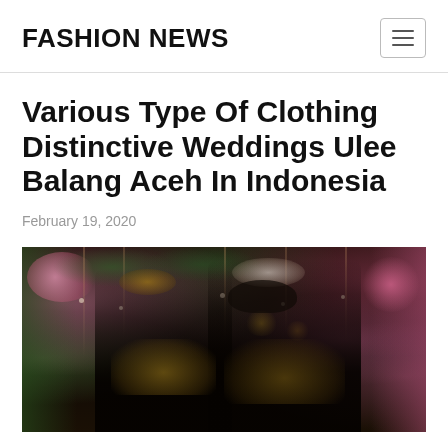FASHION NEWS
Various Type Of Clothing Distinctive Weddings Ulee Balang Aceh In Indonesia
February 19, 2020
[Figure (photo): A couple in traditional Acehnese wedding attire (Ulee Balang), wearing black and gold embroidered garments with ornate headdresses, standing in front of a floral decorated backdrop with hanging ornaments and colorful flowers.]